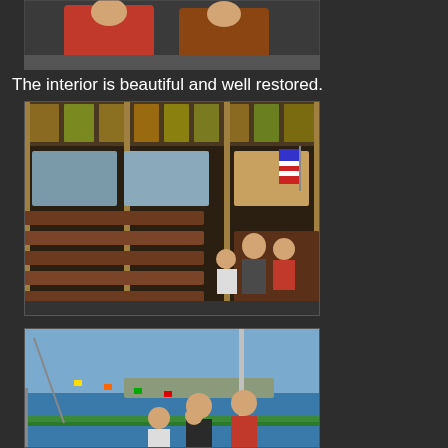[Figure (photo): Two children sitting indoors, wearing red shirts]
The interior is beautiful and well restored.
[Figure (photo): Interior of a restored historic ferry/boat with wooden pews/benches, tall columns, stained glass windows at top, and a family (woman with two children) sitting on the benches. An American flag is visible in the background.]
[Figure (photo): A woman holding a baby and standing with two children on the deck of a boat, with ocean and coastline visible in the background.]